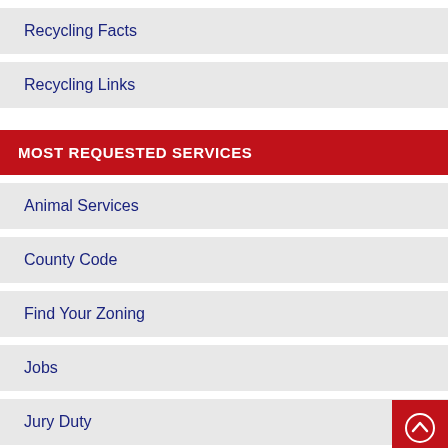Recycling Facts
Recycling Links
MOST REQUESTED SERVICES
Animal Services
County Code
Find Your Zoning
Jobs
Jury Duty
Pay Parking, Red Light or Speed Camera Tickets